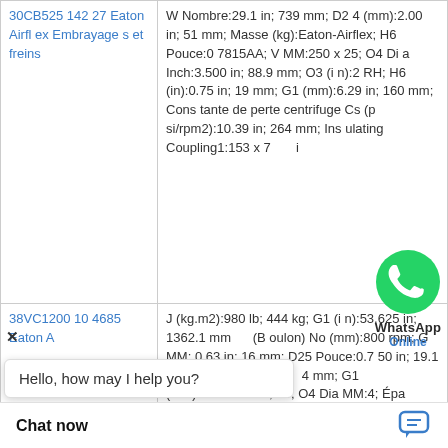| Product | Specifications |
| --- | --- |
| 30CB525 14227 Eaton Airflex Embrayages et freins | W Nombre:29.1 in; 739 mm; D24 (mm):2.00 in; 51 mm; Masse (kg):Eaton-Airflex; H6 Pouce:07815AA; V MM:250 x 25; O4 Dia Inch:3.500 in; 88.9 mm; O3 (in):2 RH; H6 (in):0.75 in; 19 mm; G1 (mm):6.29 in; 160 mm; Constante de perte centrifuge Cs (psi/rpm2):10.39 in; 264 mm; Insulating Coupling1:153 x 7...i |
| 38VC1200 104685 Eaton A... | J (kg.m2):980 lb; 444 kg; G1 (in):53.625 in; 1362.1 mm; (Boulon) No (mm):800 rpm; G MM:0.63 in; 16 mm; D25 Pouce:0.750 in; 19.1 mm; H6 (in):52.125 i...4 mm; G1 (mm):+0.005/-...in; +0; O4 Dia MM:4; Épaisseur de la garniture de friction usée (no):1644 in²; 10604 c...0.59 in; 15 mm; In |
[Figure (screenshot): WhatsApp Online overlay with green WhatsApp icon, 'WhatsApp' label in bold, and 'Online' in blue]
Hello, how may I help you?
Chat now